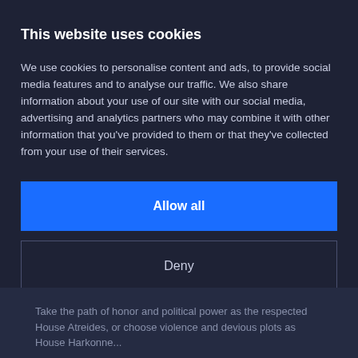This website uses cookies
We use cookies to personalise content and ads, to provide social media features and to analyse our traffic. We also share information about your use of our site with our social media, advertising and analytics partners who may combine it with other information that you've provided to them or that they've collected from your use of their services.
Allow all
Deny
Show details
Take the path of honor and political power as the respected House Atreides, or choose violence and devious plots as House Harko...